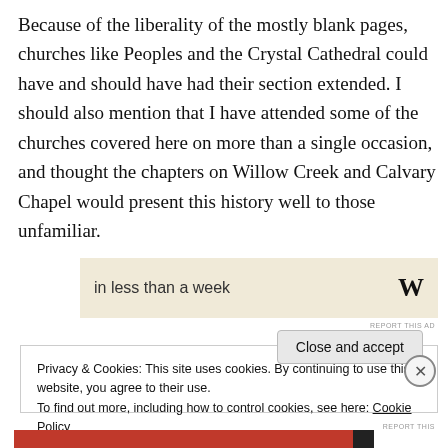Because of the liberality of the mostly blank pages, churches like Peoples and the Crystal Cathedral could have and should have had their section extended. I should also mention that I have attended some of the churches covered here on more than a single occasion, and thought the chapters on Willow Creek and Calvary Chapel would present this history well to those unfamiliar.
[Figure (other): Advertisement banner with text 'in less than a week' and a bold W logo on a tan/cream background]
Privacy & Cookies: This site uses cookies. By continuing to use this website, you agree to their use.
To find out more, including how to control cookies, see here: Cookie Policy
Close and accept